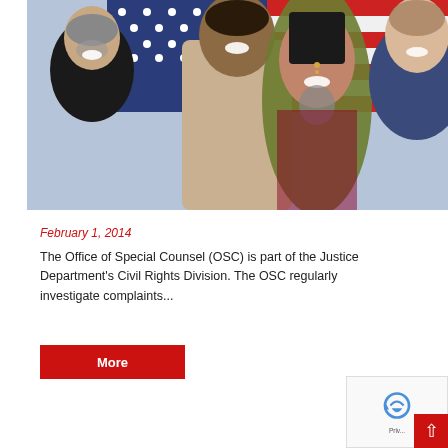[Figure (photo): Group of diverse people smiling in front of an American flag. Four individuals visible: older man with gray beard on left, tall man in center-left, Indian woman with traditional jewelry in center-front, and woman on right.]
February 1, 2014
The Office of Special Counsel (OSC) is part of the Justice Department's Civil Rights Division. The OSC regularly investigate complaints...
More